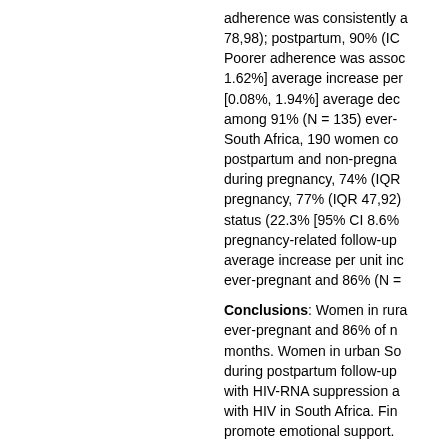adherence was consistently a 78,98); postpartum, 90% (IC Poorer adherence was assoc 1.62%] average increase per [0.08%, 1.94%] average dec among 91% (N = 135) ever- South Africa, 190 women co postpartum and non-pregna during pregnancy, 74% (IQR pregnancy, 77% (IQR 47,92) status (22.3% [95% CI 8.6% pregnancy-related follow-up average increase per unit inc ever-pregnant and 86% (N =
Conclusions: Women in rura ever-pregnant and 86% of n months. Women in urban So during postpartum follow-up with HIV-RNA suppression a with HIV in South Africa. Fin promote emotional support.
Rights
Copyright © 2020 The Auth published by John Wiley & S